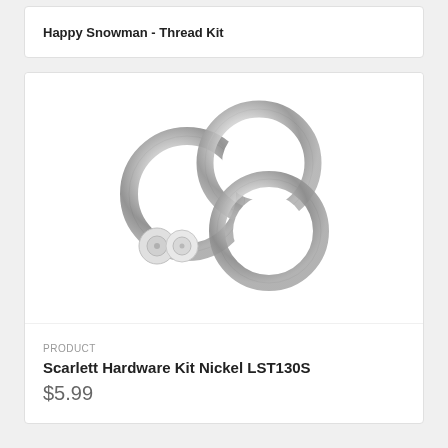Happy Snowman - Thread Kit
[Figure (photo): Product photo showing three nickel-colored metal O-rings of varying sizes arranged together, with two small circular disc/snap components in front, all on white background]
PRODUCT
Scarlett Hardware Kit Nickel LST130S
$5.99